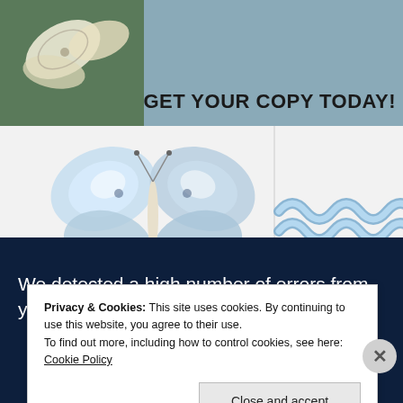[Figure (illustration): Banner with butterfly and decorative waves, text 'GET YOUR COPY TODAY!']
GET YOUR COPY TODAY!
[Figure (illustration): Decorative illustration with two blue butterflies and blue wavy ribbon/wave pattern on light background]
We detected a high number of errors from your connection. To continue,
Privacy & Cookies: This site uses cookies. By continuing to use this website, you agree to their use.
To find out more, including how to control cookies, see here: Cookie Policy
Close and accept